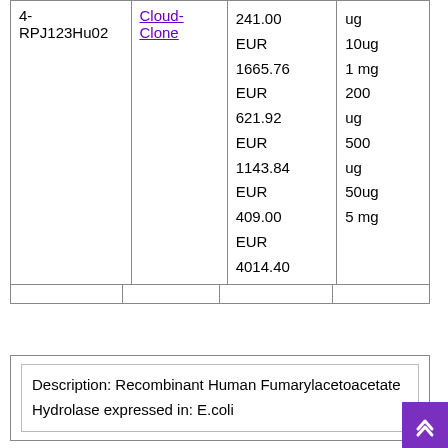| Catalog | Supplier | Price | Quantity |
| --- | --- | --- | --- |
| 4-RPJ123Hu02 | Cloud-Clone | EUR 241.00
EUR 1665.76
EUR 621.92
EUR 1143.84
EUR 409.00
EUR 4014.40 | ug
10ug
1 mg
200 ug
500 ug
50ug
5 mg |
Description: Recombinant Human Fumarylacetoacetate Hydrolase expressed in: E.coli